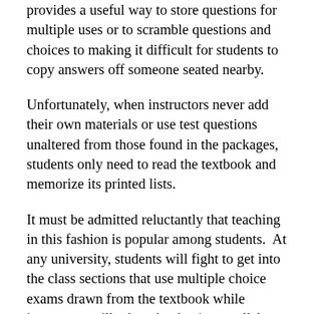provides a useful way to store questions for multiple uses or to scramble questions and choices to making it difficult for students to copy answers off someone seated nearby.
Unfortunately, when instructors never add their own materials or use test questions unaltered from those found in the packages, students only need to read the textbook and memorize its printed lists.
It must be admitted reluctantly that teaching in this fashion is popular among students.  At any university, students will fight to get into the class sections that use multiple choice exams drawn from the textbook while instructors will relate that having a syllabus listing essay tests leads to an immediate loss of one-fourth of the students after the first class.  As the predominant measures of teaching effectiveness become students' evaluations of the teachers as expressed on forms they fill out on the last class day, it should come as no surprise that the feedback